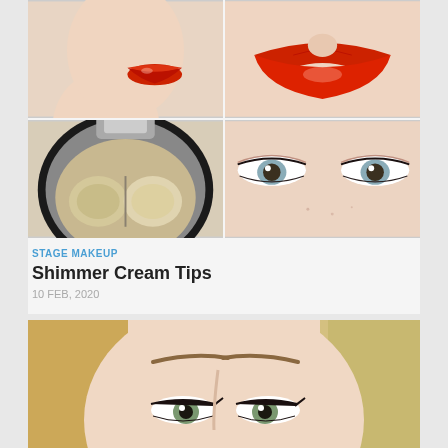[Figure (photo): 2x2 grid of makeup photos: top-left shows a woman's profile with red lips, top-right shows close-up red lips front view, bottom-left shows a shimmer/highlight compact makeup product, bottom-right shows a close-up of a woman's eyes with mascara and subtle eyeshadow]
STAGE MAKEUP
Shimmer Cream Tips
10 FEB, 2020
[Figure (photo): Close-up photo of a blonde woman's face with natural glam makeup, featuring defined brows, winged liner, and green eyes]